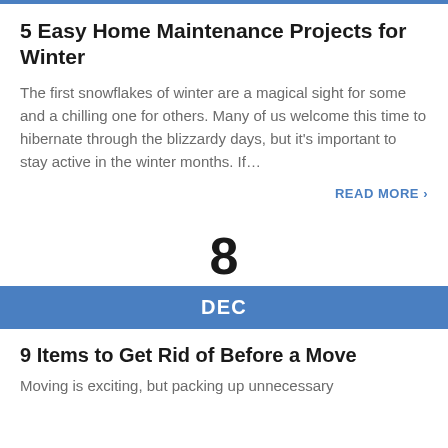5 Easy Home Maintenance Projects for Winter
The first snowflakes of winter are a magical sight for some and a chilling one for others. Many of us welcome this time to hibernate through the blizzardy days, but it's important to stay active in the winter months. If…
READ MORE ›
8
DEC
9 Items to Get Rid of Before a Move
Moving is exciting, but packing up unnecessary